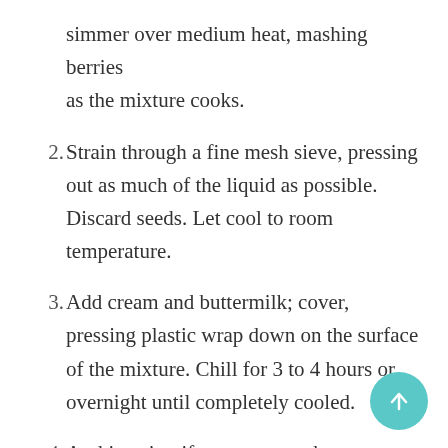simmer over medium heat, mashing berries as the mixture cooks.
2. Strain through a fine mesh sieve, pressing out as much of the liquid as possible. Discard seeds. Let cool to room temperature.
3. Add cream and buttermilk; cover, pressing plastic wrap down on the surface of the mixture. Chill for 3 to 4 hours or overnight until completely cooled.
4. At this point, if you want to churn your popsicles, pour mixture into an ice cream maker and churn according to manufacturers